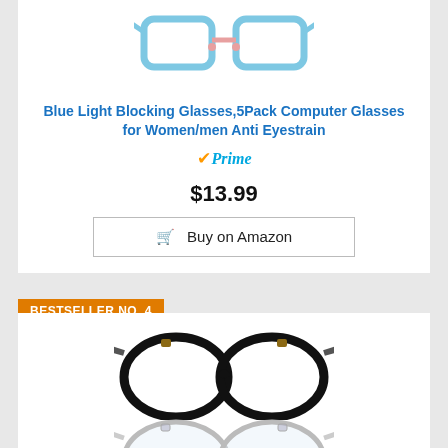[Figure (photo): Blue light blocking glasses product image - light blue/teal frame glasses]
Blue Light Blocking Glasses,5Pack Computer Glasses for Women/men Anti Eyestrain
Prime (Amazon Prime badge)
$13.99
Buy on Amazon
BESTSELLER NO. 4
[Figure (photo): Two pairs of glasses: black frame glasses on top, clear frame glasses on bottom]
livho 2 Pack Blue Light Blocking Glasses, Computer Reading/Gaming/TV/Phones Glasses for Women